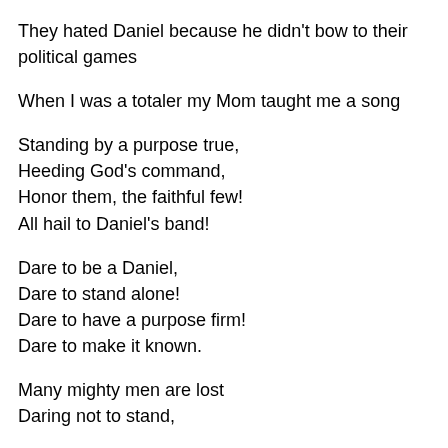They hated Daniel because he didn't bow to their political games
When I was a totaler my Mom taught me a song
Standing by a purpose true,
Heeding God’s command,
Honor them, the faithful few!
All hail to Daniel’s band!
Dare to be a Daniel,
Dare to stand alone!
Dare to have a purpose firm!
Dare to make it known.
Many mighty men are lost
Daring not to stand,